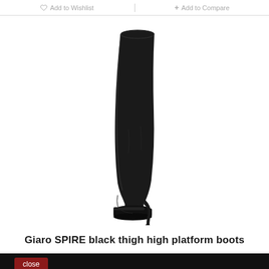Add to Wishlist | + Add to Compare
[Figure (photo): A tall black thigh-high platform stiletto boot with a pointed toe and stiletto heel, photographed on a white background. The boot is very tall, reaching over the thigh, with a sleek matte black finish.]
Giaro SPIRE black thigh high platform boots
close